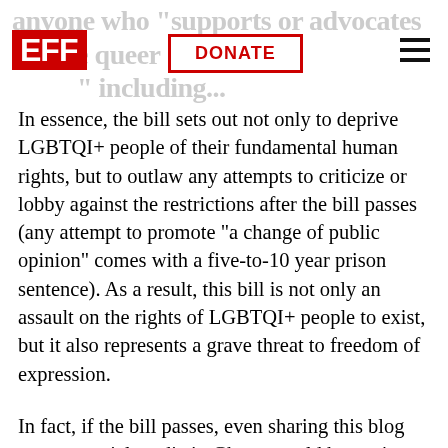anyone who "supports or advocates for the queer... " including... EFF | DONATE
In essence, the bill sets out not only to deprive LGBTQI+ people of their fundamental human rights, but to outlaw any attempts to criticize or lobby against the restrictions after the bill passes (any attempt to promote "a change of public opinion" comes with a five-to-10 year prison sentence). As a result, this bill is not only an assault on the rights of LGBTQI+ people to exist, but it also represents a grave threat to freedom of expression.
In fact, if the bill passes, even sharing this blog post on social media in Ghana would be a crime.
The bill has a blanket prohibition on advocating for